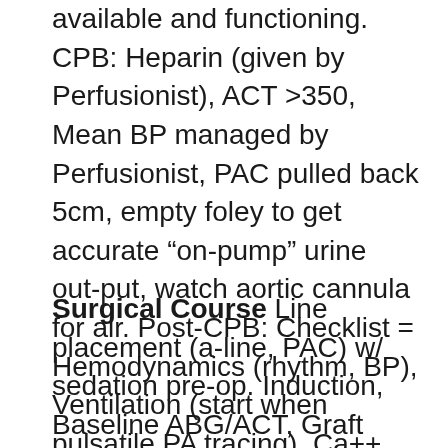available and functioning. CPB: Heparin (given by Perfusionist), ACT >350, Mean BP managed by Perfusionist, PAC pulled back 5cm, empty foley to get accurate “on-pump” urine out-put, watch aortic cannula for air. Post-CPB: Checklist = Hemodynamics (rhythm, BP), Ventilation (start when pulsatile PA tracing), Ca++, Acid/Base, Hb, Temp (>36), K+.
Surgical Course Line placement (a-line, PAC) w/ sedation pre-op. Induction, Baseline ABG/ACT, Graft harvest, Sternotomy (lungs down, have blood available), CBP access established (MAP <70 prior to Aortic cannulation to reduce chance of dissection), Start CPB (Stop